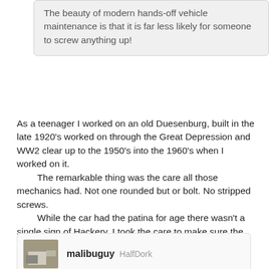The beauty of modern hands-off vehicle maintenance is that it is far less likely for someone to screw anything up!
As a teenager I worked on an old Duesenburg,  built in the late 1920's worked on through the Great Depression and WW2  clear up to the 1950's into the 1960's when I worked on it.
    The remarkable thing was the care all those mechanics had.  Not one rounded but or bolt. No stripped screws.
    While the car had the patina for age there wasn't a single sign of Hackery.  I took the care to make sure the screw driver properly fit the screw.  Took a few moments with the grinder and whetstone. Took the time to ensure the wrench was on square.  Not only wiped things clean, I actually polished my work out of appreciation of the fine car I had a chance to service.
malibuguy HalfDork